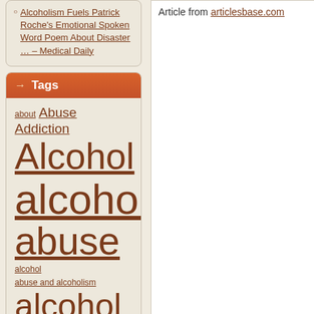Alcoholism Fuels Patrick Roche's Emotional Spoken Word Poem About Disaster … – Medical Daily
Tags
about Abuse Addiction Alcohol alcohol abuse alcohol alcohol abuse and alcoholism alcohol abuse info alcohol abuse information
Article from articlesbase.com